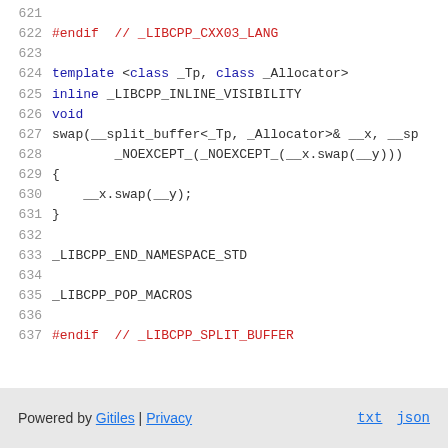[Figure (screenshot): Source code viewer showing lines 621-637 of a C++ file (__split_buffer header). Lines include #endif directive, a template function for swap, _LIBCPP_END_NAMESPACE_STD, _LIBCPP_POP_MACROS, and final #endif.]
Powered by Gitiles | Privacy   txt   json